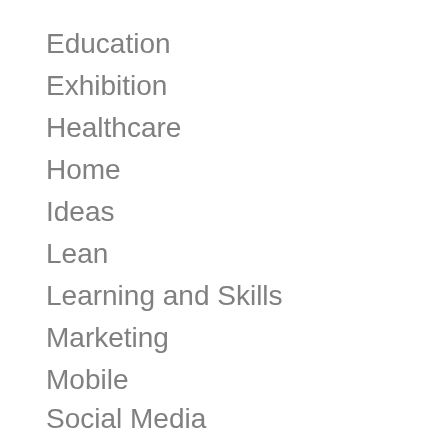Education
Exhibition
Healthcare
Home
Ideas
Lean
Learning and Skills
Marketing
Mobile
Social Media
Software
Strategy